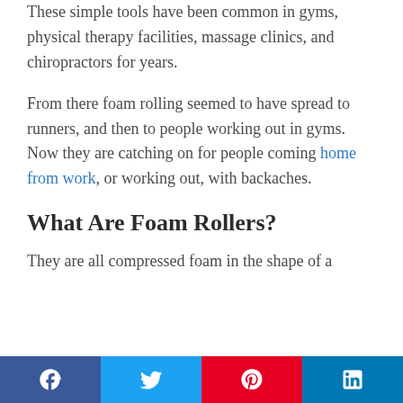These simple tools have been common in gyms, physical therapy facilities, massage clinics, and chiropractors for years.
From there foam rolling seemed to have spread to runners, and then to people working out in gyms. Now they are catching on for people coming home from work, or working out, with backaches.
What Are Foam Rollers?
They are all compressed foam in the shape of a